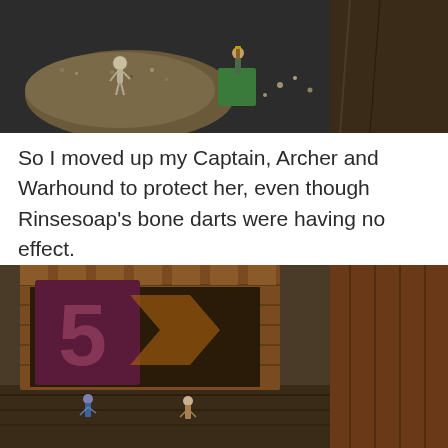[Figure (photo): Top-down photo of tabletop miniature wargame scene showing painted miniature figures including a skeleton figure on a large base, a figure on a green square base, and other gaming pieces on a dark surface]
So I moved up my Captain, Archer and Warhound to protect her, even though Rinsesoap's bone darts were having no effect.
[Figure (photo): Close-up photo of a wooden fantasy terrain piece resembling a ship or building with a large number 5 symbol, with miniature figures visible at the bottom on a dark floor mat]